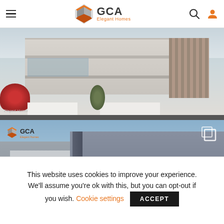GCA Elegant Homes navigation bar with hamburger menu, logo, search and user icons
[Figure (photo): Architectural render of a modern multi-storey residential building exterior with balconies, glass panels, and landscaping including red flowering plants and olive tree]
[Figure (photo): Architectural render of a modern minimalist home facade with concrete structure, dark window shutters and blinds, under blue sky. GCA Elegant Homes watermark logo in top-left corner.]
This website uses cookies to improve your experience. We'll assume you're ok with this, but you can opt-out if you wish. Cookie settings ACCEPT